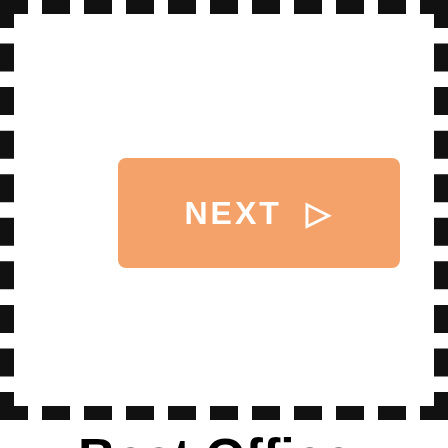[Figure (other): Orange/salmon colored button with 'NEXT ▷' text inside a dashed black border box]
Best Office Phones Chandler AZ
Office Phone Reviews in Arizona
Searching for the best business phone system for a small business in Chandler AZ? Do you have a medium to large business and need to replace an older phone system? Do you need to expand a current PBX system or are you simply trying to cut